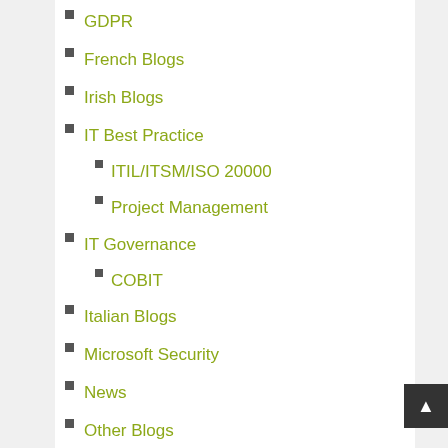GDPR
French Blogs
Irish Blogs
IT Best Practice
ITIL/ITSM/ISO 20000
Project Management
IT Governance
COBIT
Italian Blogs
Microsoft Security
News
Other Blogs
Book Reviews
Breaches and Hacks
Product Blog
Technical Experts